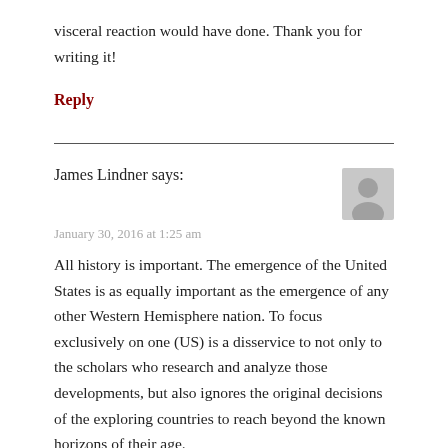visceral reaction would have done. Thank you for writing it!
Reply
James Lindner says:
January 30, 2016 at 1:25 am
All history is important. The emergence of the United States is as equally important as the emergence of any other Western Hemisphere nation. To focus exclusively on one (US) is a disservice to not only to the scholars who research and analyze those developments, but also ignores the original decisions of the exploring countries to reach beyond the known horizons of their age.